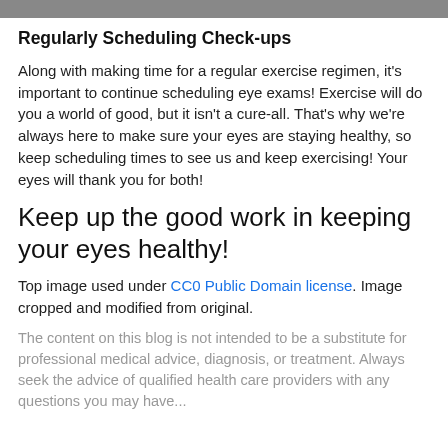[Figure (photo): Top cropped image strip showing a partial photograph]
Regularly Scheduling Check-ups
Along with making time for a regular exercise regimen, it's important to continue scheduling eye exams! Exercise will do you a world of good, but it isn't a cure-all. That's why we're always here to make sure your eyes are staying healthy, so keep scheduling times to see us and keep exercising! Your eyes will thank you for both!
Keep up the good work in keeping your eyes healthy!
Top image used under CC0 Public Domain license. Image cropped and modified from original.
The content on this blog is not intended to be a substitute for professional medical advice, diagnosis, or treatment. Always seek the advice of qualified health care providers with any questions you may have...